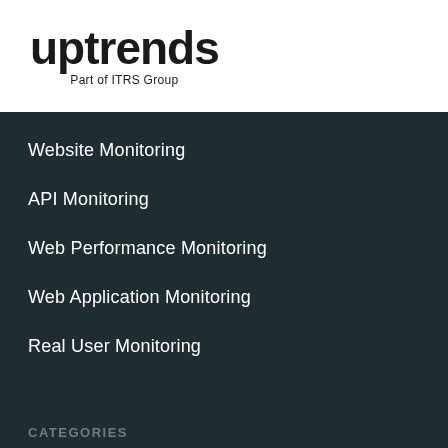[Figure (logo): Uptrends logo with text 'uptrends' in bold black and tagline 'Part of ITRS Group' below]
Website Monitoring
API Monitoring
Web Performance Monitoring
Web Application Monitoring
Real User Monitoring
CATEGORIES